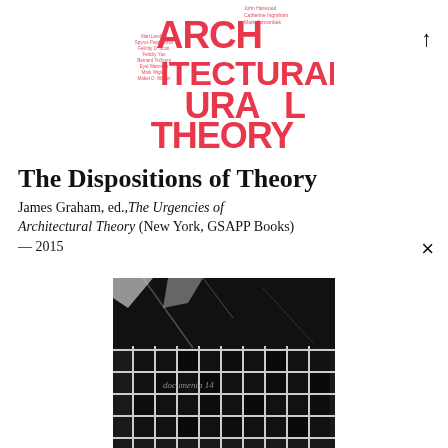[Figure (illustration): Book cover for 'Architectural Theory' edited by James Graham, published by GSAPP Books. Large bold red/pink text reads 'ARCHITECTURAL THEORY' with contributor names listed in smaller text on the left side.]
The Dispositions of Theory
James Graham, ed., The Urgencies of Architectural Theory (New York, GSAPP Books) — 2015
[Figure (photo): Black and white photograph showing an aerial or close-up view of a grid-like structure with dark squares/blocks, resembling a map or architectural plan. Text 'documenta 14' is partially visible.]